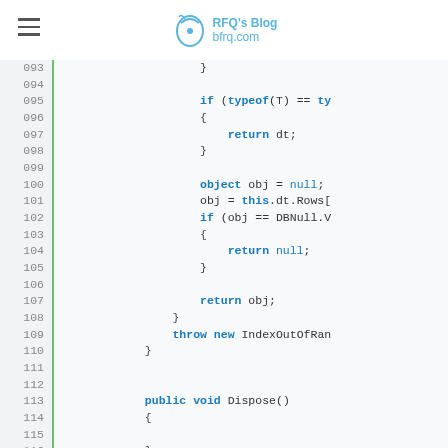RFQ's Blog - bfrq.com
[Figure (screenshot): Code editor screenshot showing C# code lines 093-117, displaying a DataTable accessor method and a Dispose() method stub. Lines include typeof checks, return statements, object null assignments, DBNull.Value checks, throw new IndexOutOfRange, and a public void Dispose() method.]